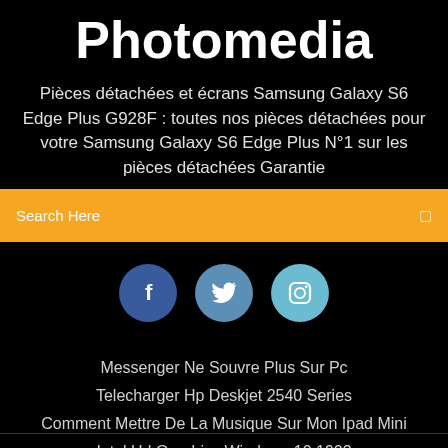Photomedia
Pièces détachées et écrans Samsung Galaxy S6 Edge Plus G928F : toutes nos pièces détachées pour votre Samsung Galaxy S6 Edge Plus N°1 sur les pièces détachées Garantie
Search Here
[Figure (infographic): Three social media circular icon buttons: Facebook (f), Twitter (bird), Instagram (camera outline), on black background]
Messenger Ne Souvre Plus Sur Pc
Telecharger Hp Deskjet 2540 Series
Comment Mettre De La Musique Sur Mon Ipad Mini
Intel Hd Graphics Windows 10 1903